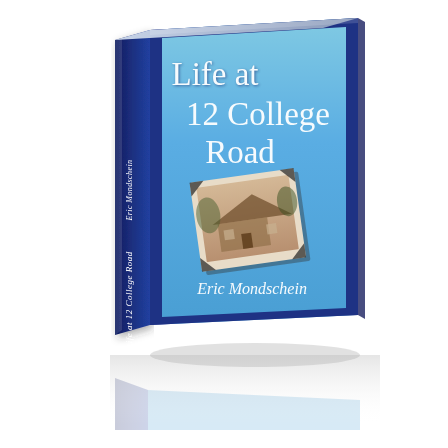[Figure (illustration): 3D book cover rendering of 'Life at 12 College Road' by Eric Mondschein. The book is shown in perspective with a blue cover featuring the title in large white serif text, a vintage sepia photograph of a house in the center, and the author name at the bottom. The spine shows the same title and author rotated vertically. A reflection of the book is visible below it on a white surface.]